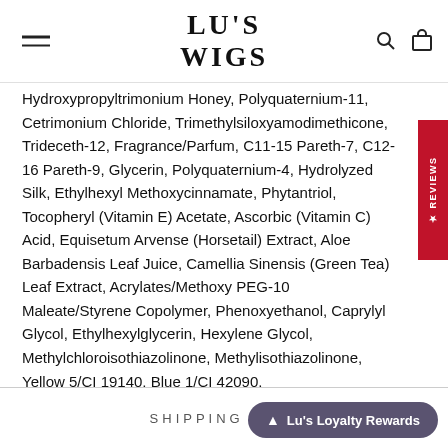LU'S WIGS
Hydroxypropyltrimonium Honey, Polyquaternium-11, Cetrimonium Chloride, Trimethylsiloxyamodimethicone, Trideceth-12, Fragrance/Parfum, C11-15 Pareth-7, C12-16 Pareth-9, Glycerin, Polyquaternium-4, Hydrolyzed Silk, Ethylhexyl Methoxycinnamate, Phytantriol, Tocopheryl (Vitamin E) Acetate, Ascorbic (Vitamin C) Acid, Equisetum Arvense (Horsetail) Extract, Aloe Barbadensis Leaf Juice, Camellia Sinensis (Green Tea) Leaf Extract, Acrylates/Methoxy PEG-10 Maleate/Styrene Copolymer, Phenoxyethanol, Caprylyl Glycol, Ethylhexylglycerin, Hexylene Glycol, Methylchloroisothiazolinone, Methylisothiazolinone, Yellow 5/CI 19140, Blue 1/CI 42090.
MADE IN THE USA
SHIPPING INFO
Lu's Loyalty Rewards